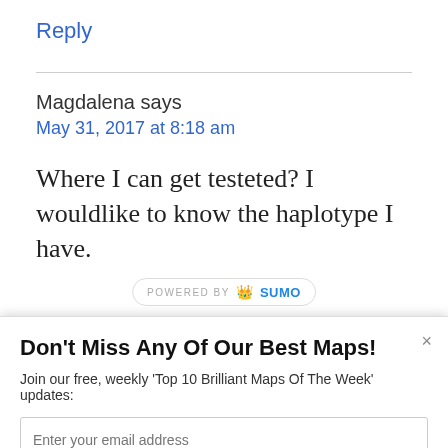Reply
Magdalena says
May 31, 2017 at 8:18 am
Where I can get testeted? I wouldlike to know the haplotype I have.
[Figure (logo): Powered by Sumo badge/watermark]
Don't Miss Any Of Our Best Maps!
Join our free, weekly 'Top 10 Brilliant Maps Of The Week' updates:
Enter your email address
Yes, Send Me More Brilliant Maps